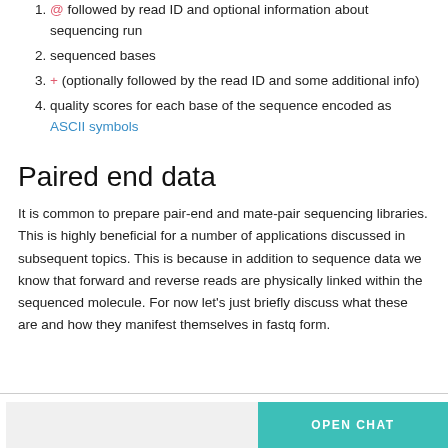@ followed by read ID and optional information about sequencing run
sequenced bases
+ (optionally followed by the read ID and some additional info)
quality scores for each base of the sequence encoded as ASCII symbols
Paired end data
It is common to prepare pair-end and mate-pair sequencing libraries. This is highly beneficial for a number of applications discussed in subsequent topics. This is because in addition to sequence data we know that forward and reverse reads are physically linked within the sequenced molecule. For now let's just briefly discuss what these are and how they manifest themselves in fastq form.